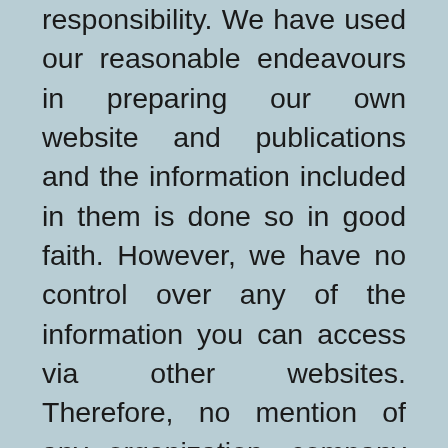responsibility. We have used our reasonable endeavours in preparing our own website and publications and the information included in them is done so in good faith. However, we have no control over any of the information you can access via other websites. Therefore, no mention of any organization, company or individual to which our website is linked shall imply any approval or warranty as to the standing and capability of any such organizations, company or